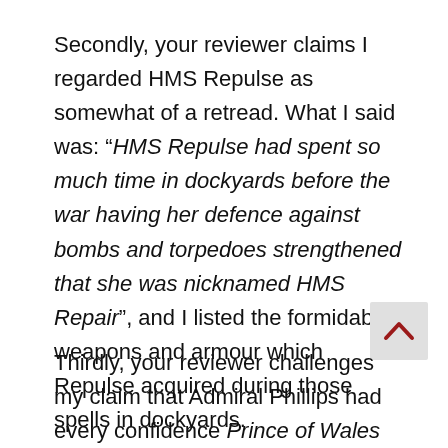Secondly, your reviewer claims I regarded HMS Repulse as somewhat of a retread. What I said was: “HMS Repulse had spent so much time in dockyards before the war having her defence against bombs and torpedoes strengthened that she was nicknamed HMS Repair”, and I listed the formidable weapons and armour which Repulse acquired during those spells in dockyards.
Thirdly, your reviewer challenges my claim that Admiral Phillips had every confidence Prince of Wales and Repulse could withstand attacks by